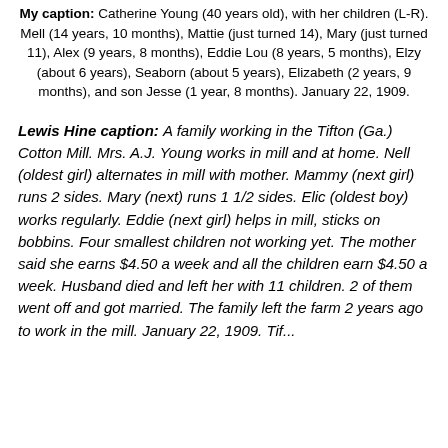My caption: Catherine Young (40 years old), with her children (L-R). Mell (14 years, 10 months), Mattie (just turned 14), Mary (just turned 11), Alex (9 years, 8 months), Eddie Lou (8 years, 5 months), Elzy (about 6 years), Seaborn (about 5 years), Elizabeth (2 years, 9 months), and son Jesse (1 year, 8 months). January 22, 1909.
Lewis Hine caption: A family working in the Tifton (Ga.) Cotton Mill. Mrs. A.J. Young works in mill and at home. Nell (oldest girl) alternates in mill with mother. Mammy (next girl) runs 2 sides. Mary (next) runs 1 1/2 sides. Elic (oldest boy) works regularly. Eddie (next girl) helps in mill, sticks on bobbins. Four smallest children not working yet. The mother said she earns $4.50 a week and all the children earn $4.50 a week. Husband died and left her with 11 children. 2 of them went off and got married. The family left the farm 2 years ago to work in the mill. January 22, 1909. Location: Tifton,